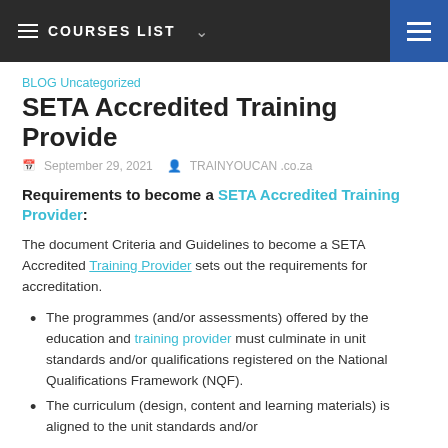COURSES LIST
BLOG Uncategorized
SETA Accredited Training Provide
September 29, 2021   TRAINYOUCAN .co.za
Requirements to become a SETA Accredited Training Provider:
The document Criteria and Guidelines to become a SETA Accredited Training Provider sets out the requirements for accreditation.
The programmes (and/or assessments) offered by the education and training provider must culminate in unit standards and/or qualifications registered on the National Qualifications Framework (NQF).
The curriculum (design, content and learning materials) is aligned to the unit standards and/or